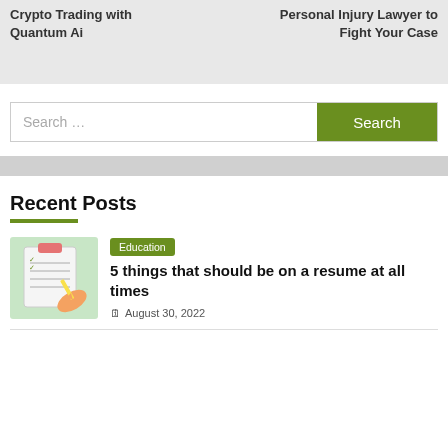Crypto Trading with Quantum Ai
Personal Injury Lawyer to Fight Your Case
Search ...
Recent Posts
[Figure (illustration): Clipboard with checklist illustration, hands holding pencil]
Education
5 things that should be on a resume at all times
August 30, 2022